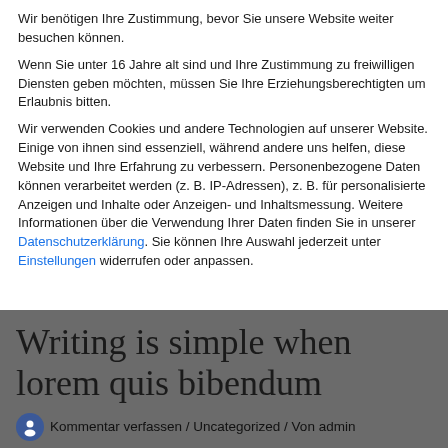Wir benötigen Ihre Zustimmung, bevor Sie unsere Website weiter besuchen können.
Wenn Sie unter 16 Jahre alt sind und Ihre Zustimmung zu freiwilligen Diensten geben möchten, müssen Sie Ihre Erziehungsberechtigten um Erlaubnis bitten.
Wir verwenden Cookies und andere Technologien auf unserer Website. Einige von ihnen sind essenziell, während andere uns helfen, diese Website und Ihre Erfahrung zu verbessern. Personenbezogene Daten können verarbeitet werden (z. B. IP-Adressen), z. B. für personalisierte Anzeigen und Inhalte oder Anzeigen- und Inhaltsmessung. Weitere Informationen über die Verwendung Ihrer Daten finden Sie in unserer Datenschutzerklärung. Sie können Ihre Auswahl jederzeit unter Einstellungen widerrufen oder anpassen.
Writing is simple when lorem quis bibendum
Kommentar verfassen / Uncategorized / Von admin